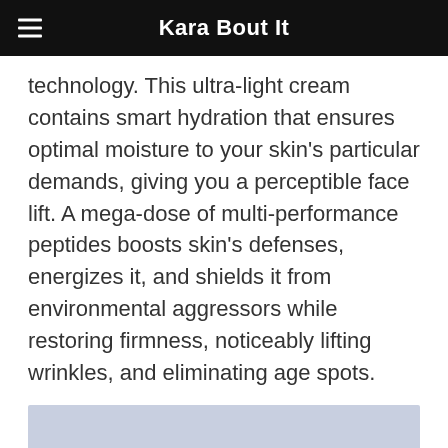Kara Bout It
technology. This ultra-light cream contains smart hydration that ensures optimal moisture to your skin's particular demands, giving you a perceptible face lift. A mega-dose of multi-performance peptides boosts skin's defenses, energizes it, and shields it from environmental aggressors while restoring firmness, noticeably lifting wrinkles, and eliminating age spots.
[Figure (photo): Skincare product set labeled 'ON-THE-GO GLOW' including blue bottles and a jar, displayed in a white cosmetic bag on a light grey background. Partial text 'Hydra' visible on packaging.]